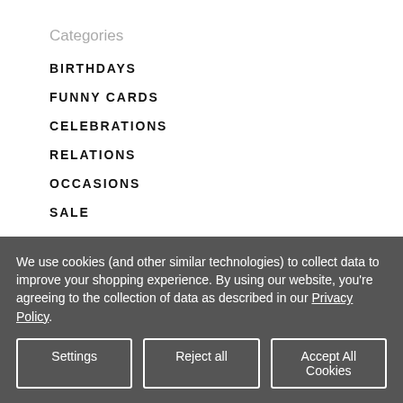Categories
BIRTHDAYS
FUNNY CARDS
CELEBRATIONS
RELATIONS
OCCASIONS
SALE
GIFTS AND STATIONARY
We use cookies (and other similar technologies) to collect data to improve your shopping experience. By using our website, you're agreeing to the collection of data as described in our Privacy Policy.
Settings | Reject all | Accept All Cookies